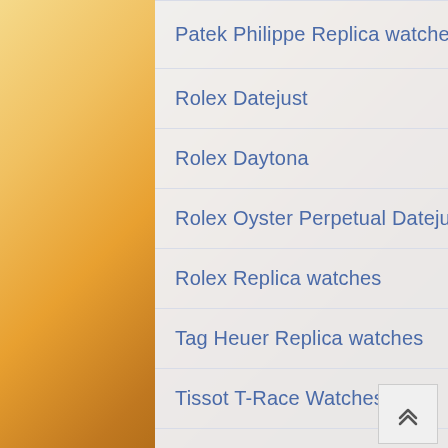Patek Philippe Replica watches
Rolex Datejust
Rolex Daytona
Rolex Oyster Perpetual Datejust
Rolex Replica watches
Tag Heuer Replica watches
Tissot T-Race Watches
Tissot Watches
Top Quality Replica Watches